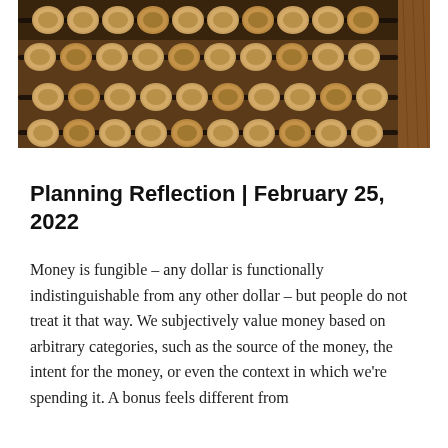[Figure (photo): Close-up photograph of a wooden abacus with dark metal rods and brown wooden beads, showing the counting tool from above on a wooden surface.]
Planning Reflection | February 25, 2022
Money is fungible – any dollar is functionally indistinguishable from any other dollar – but people do not treat it that way. We subjectively value money based on arbitrary categories, such as the source of the money, the intent for the money, or even the context in which we're spending it. A bonus feels different from